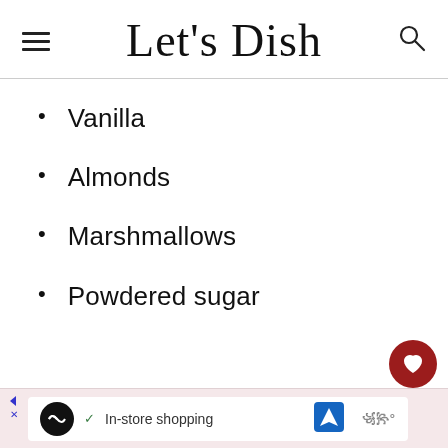Let's Dish
Vanilla
Almonds
Marshmallows
Powdered sugar